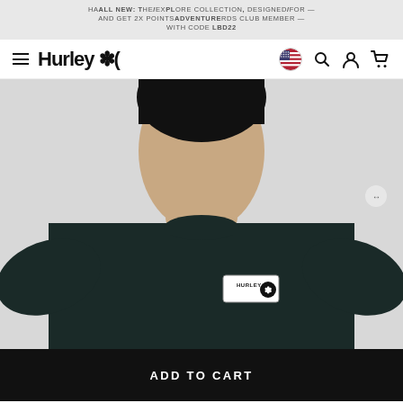ALL NEW: THE EXPLORE COLLECTION, DESIGNED FOR ADVENTURE — AND GET 2X POINTS RDS CLUB MEMBER — WITH CODE LBD22
[Figure (logo): Hurley logo with navigation bar including hamburger menu, US flag, search, account, and cart icons]
[Figure (photo): Man wearing a dark/black Hurley long sleeve shirt with Hurley logo patch on chest, cropped to show torso and lower face]
ADD TO CART